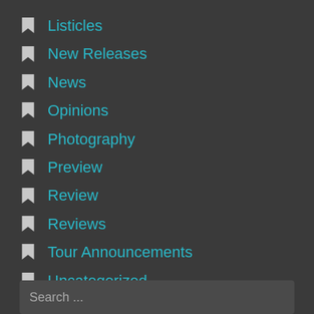Listicles
New Releases
News
Opinions
Photography
Preview
Review
Reviews
Tour Announcements
Uncategorized
Search ...